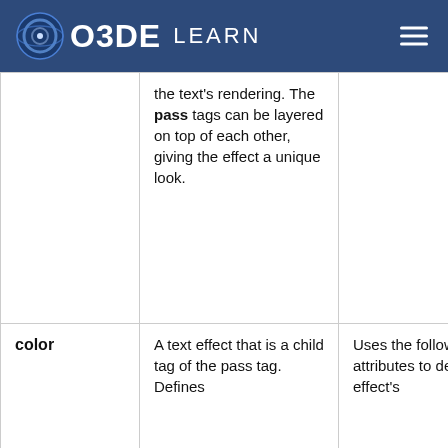O3DE LEARN
|  | the text's rendering. The pass tags can be layered on top of each other, giving the effect a unique look. |  |
| color | A text effect that is a child tag of the pass tag. Defines | Uses the following attributes to define the effect's |